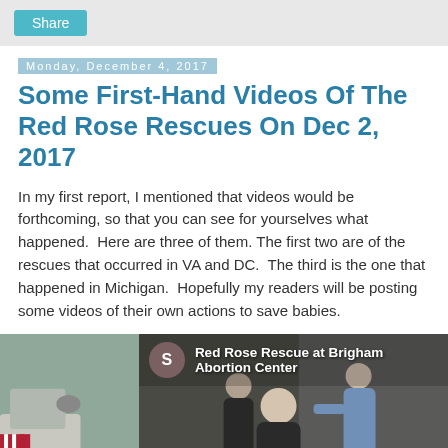Share
Monday, December 4, 2017
Some First-Hand Videos Of The Red Rose Rescues On Dec 2, 2017
In my first report, I mentioned that videos would be forthcoming, so that you can see for yourselves what happened.  Here are three of them. The first two are of the rescues that occurred in VA and DC.  The third is the one that happened in Michigan.  Hopefully my readers will be posting some videos of their own actions to save babies.
[Figure (screenshot): Video thumbnail showing 'Red Rose Rescue at Brigham Abortion Center' with avatar circle labeled S, showing a scene of police officers with a bald man]